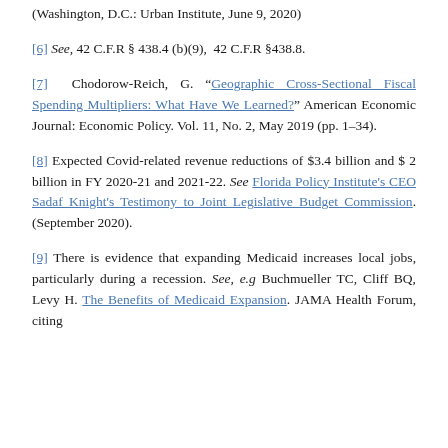(Washington, D.C.: Urban Institute, June 9, 2020)
[6] See, 42 C.F.R § 438.4 (b)(9),  42 C.F.R §438.8.
[7]  Chodorow-Reich, G. "Geographic Cross-Sectional Fiscal Spending Multipliers: What Have We Learned?" American Economic Journal: Economic Policy. Vol. 11, No. 2, May 2019 (pp. 1–34).
[8] Expected Covid-related revenue reductions of $3.4 billion and $ 2 billion in FY 2020-21 and 2021-22. See Florida Policy Institute's CEO Sadaf Knight's Testimony to Joint Legislative Budget Commission. (September 2020).
[9] There is evidence that expanding Medicaid increases local jobs, particularly during a recession. See, e.g Buchmueller TC, Cliff BQ, Levy H. The Benefits of Medicaid Expansion. JAMA Health Forum, citing